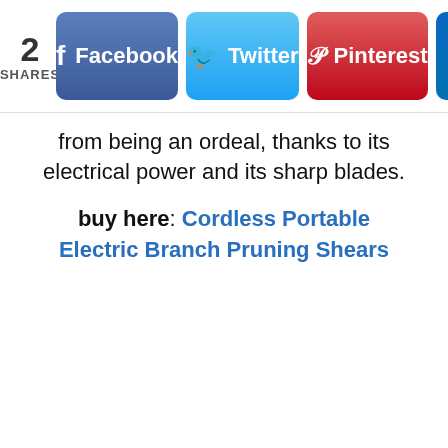[Figure (screenshot): Social share bar with count showing 2 SHARES, and buttons for Facebook, Twitter, Pinterest, and LinkedIn (partially visible)]
from being an ordeal, thanks to its electrical power and its sharp blades.
buy here: Cordless Portable Electric Branch Pruning Shears